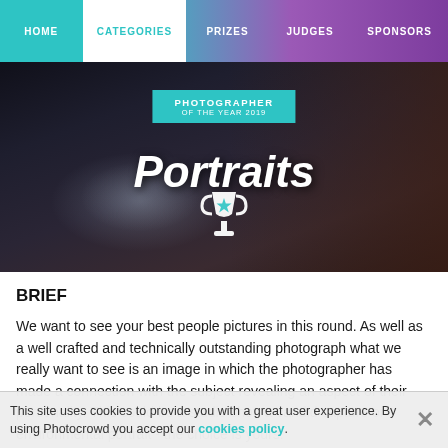HOME | CATEGORIES | PRIZES | JUDGES | SPONSORS
[Figure (photo): Hero banner image for 'Portraits' category of Photographer of the Year 2019 competition. Dark background with smoke/dust, a trophy icon, a teal banner reading 'PHOTOGRAPHER OF THE YEAR 2019', and bold italic text 'Portraits'.]
BRIEF
We want to see your best people pictures in this round. As well as a well crafted and technically outstanding photograph what we really want to see is an image in which the photographer has made a connection with the subject revealing an aspect of their personality. This could be a studio shot, a candid capture or environmental portrait - the choice is yours.
This site uses cookies to provide you with a great user experience. By using Photocrowd you accept our cookies policy.